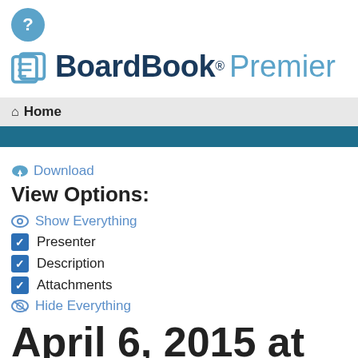[Figure (logo): BoardBook Premier logo with help circle icon and teal book/pages icon]
Home
Download
View Options:
Show Everything
Presenter
Description
Attachments
Hide Everything
April 6, 2015 at 4:00 PM - Regular Meeting